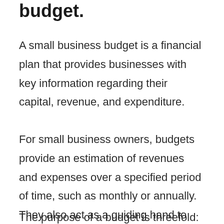budget.
A small business budget is a financial plan that provides businesses with key information regarding their capital, revenue, and expenditure.
For small business owners, budgets provide an estimation of revenues and expenses over a specified period of time, such as monthly or annually. They also act as a guiding hand to help you determine how and where you'll spend your money.
The purpose of a budget is threefold: